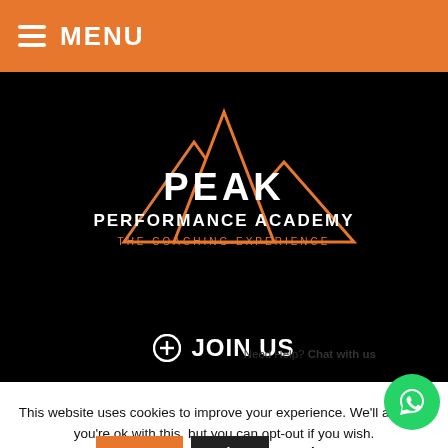≡ MENU
[Figure (logo): Peak Performance Academy logo on black background with orange mountain peaks. Text: PEAK PERFORMANCE ACADEMY THE COACHING EXPERIENCE]
⊕ JOIN US
This website uses cookies to improve your experience. We'll assume you're ok with this, but you can opt-out if you wish.
Need Help? Chat with us
Accept
Reject
Read More